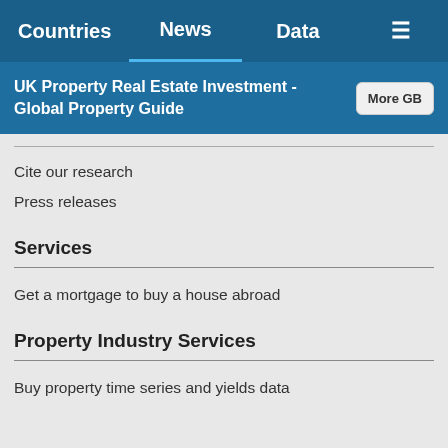Countries | News | Data | Menu
UK Property Real Estate Investment - Global Property Guide
Cite our research
Press releases
Services
Get a mortgage to buy a house abroad
Property Industry Services
Buy property time series and yields data